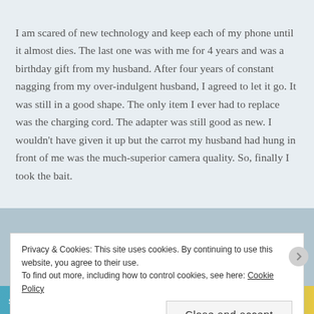I am scared of new technology and keep each of my phone until it almost dies. The last one was with me for 4 years and was a birthday gift from my husband. After four years of constant nagging from my over-indulgent husband, I agreed to let it go. It was still in a good shape. The only item I ever had to replace was the charging cord. The adapter was still good as new. I wouldn't have given it up but the carrot my husband had hung in front of me was the much-superior camera quality. So, finally I took the bait.
Privacy & Cookies: This site uses cookies. By continuing to use this website, you agree to their use.
To find out more, including how to control cookies, see here: Cookie Policy
Close and accept
stories.